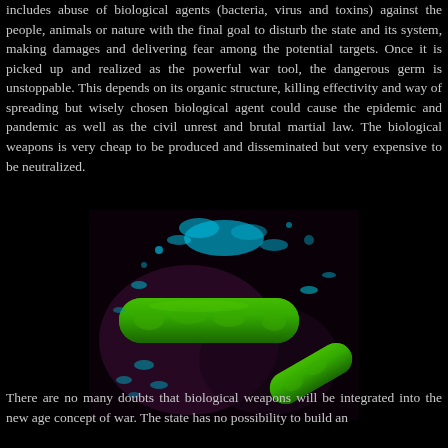includes abuse of biological agents (bacteria, virus and toxins) against the people, animals or nature with the final goal to disturb the state and its system, making damages and delivering fear among the potential targets. Once it is picked up and realized as the powerful war tool, the dangerous germ is unstoppable. This depends on its organic structure, killing effectivity and way of spreading but wisely chosen biological agent could cause the epidemic and pandemic as well as the civil unrest and brutal martial law. The biological weapons is very cheap to be produced and disseminated but very expensive to be neutralized.
[Figure (photo): Microscopic image of green bacteria (rod-shaped bacilli) surrounded by blue spore-like particles against a dark/black background — a false-color scanning electron microscope image of bacterial cells.]
There are no many doubts that biological weapons will be integrated into the new age concept of war. The state has no possibility to build an